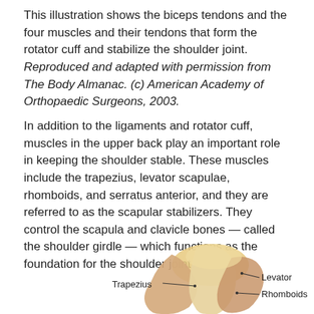This illustration shows the biceps tendons and the four muscles and their tendons that form the rotator cuff and stabilize the shoulder joint. Reproduced and adapted with permission from The Body Almanac. (c) American Academy of Orthopaedic Surgeons, 2003.
In addition to the ligaments and rotator cuff, muscles in the upper back play an important role in keeping the shoulder stable. These muscles include the trapezius, levator scapulae, rhomboids, and serratus anterior, and they are referred to as the scapular stabilizers. They control the scapula and clavicle bones — called the shoulder girdle — which functions as the foundation for the shoulder joint.
[Figure (illustration): Anatomical illustration of shoulder muscles showing Trapezius, Levator, and Rhomboids labeled with leader lines on a rendering of muscle/tendon tissue.]